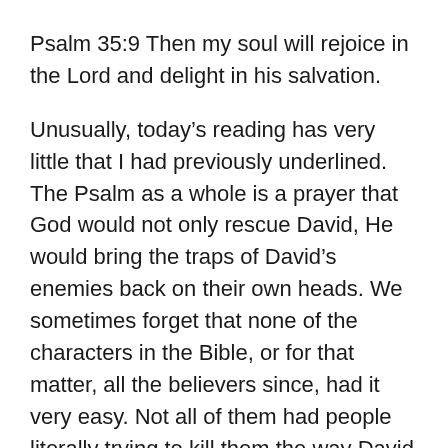Psalm 35:9 Then my soul will rejoice in the Lord and delight in his salvation.
Unusually, today's reading has very little that I had previously underlined. The Psalm as a whole is a prayer that God would not only rescue David, He would bring the traps of David's enemies back on their own heads. We sometimes forget that none of the characters in the Bible, or for that matter, all the believers since, had it very easy. Not all of them had people literally trying to kill them the way David did, but there are plenty of Christians even today who do. We get so soft, wanting everything to be easy! On the political/social scale, it has been said that “Hard times make strong men. Strong men make good times. Good times make weak men. Weak men make hard times.” That cycle has been carried out countless times